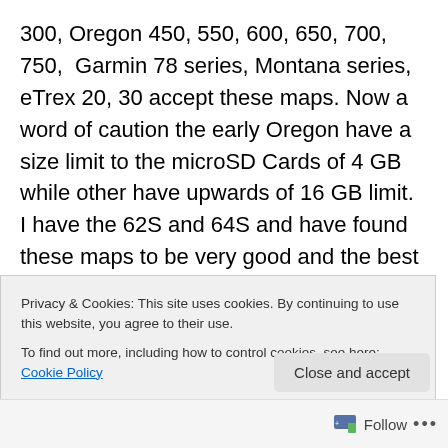300, Oregon 450, 550, 600, 650, 700, 750, Garmin 78 series, Montana series, eTrex 20, 30 accept these maps. Now a word of caution the early Oregon have a size limit to the microSD Cards of 4 GB while other have upwards of 16 GB limit. I have the 62S and 64S and have found these maps to be very good and the best part they are routable. What this means is you can get turn by turn directions from point A to B or the geocache. These maps are updated on a regular bases and they allow users such as yourself to upload tracks to place in the map of new roads or trails
Privacy & Cookies: This site uses cookies. By continuing to use this website, you agree to their use. To find out more, including how to control cookies, see here: Cookie Policy
Close and accept
Follow ...